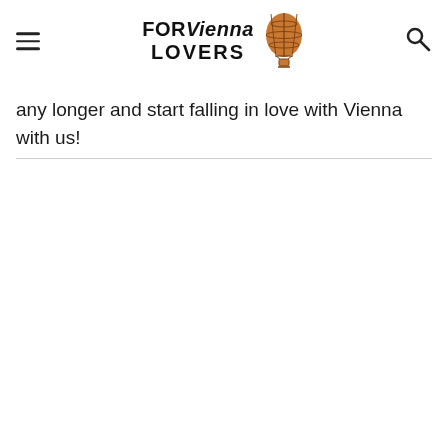FOR Vienna LOVERS
any longer and start falling in love with Vienna with us!